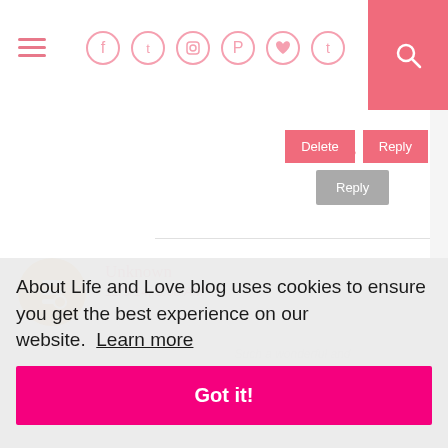Navigation header with hamburger menu, social icons (Facebook, Twitter, Instagram, Pinterest, Heart, Tumblr), and search button
Replies
Reply
Delete
Reply
Unknown
12/9/14, 5:58 AM
Such a wonderful and ...Gratitude Linkup. :)
About Life and Love blog uses cookies to ensure you get the best experience on our website.  Learn more
Got it!